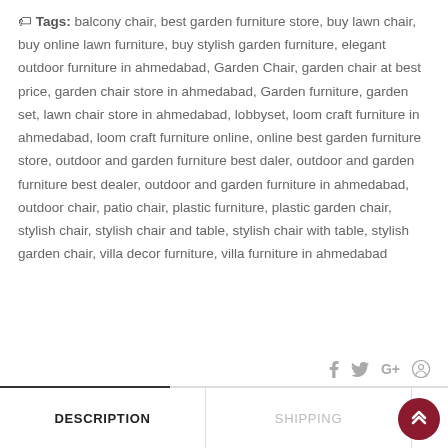Tags: balcony chair, best garden furniture store, buy lawn chair, buy online lawn furniture, buy stylish garden furniture, elegant outdoor furniture in ahmedabad, Garden Chair, garden chair at best price, garden chair store in ahmedabad, Garden furniture, garden set, lawn chair store in ahmedabad, lobbyset, loom craft furniture in ahmedabad, loom craft furniture online, online best garden furniture store, outdoor and garden furniture best daler, outdoor and garden furniture best dealer, outdoor and garden furniture in ahmedabad, outdoor chair, patio chair, plastic furniture, plastic garden chair, stylish chair, stylish chair and table, stylish chair with table, stylish garden chair, villa decor furniture, villa furniture in ahmedabad